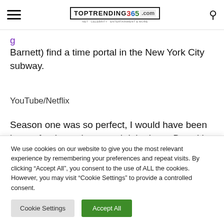TOPTRENDING 365 .COM
Barnett) find a time portal in the New York City subway.
YouTube/Netflix
Season one was so perfect, I would have been happy for the series to end right there. But with Lyonne returning as both star and showrunner, odds are
We use cookies on our website to give you the most relevant experience by remembering your preferences and repeat visits. By clicking "Accept All", you consent to the use of ALL the cookies. However, you may visit "Cookie Settings" to provide a controlled consent.